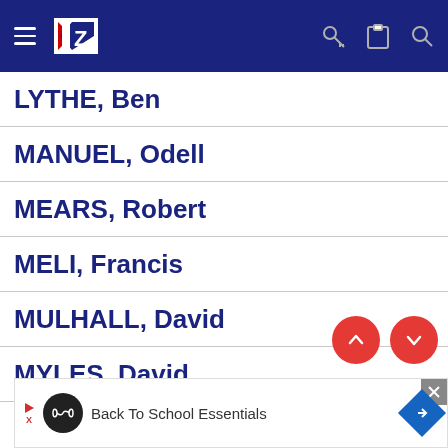NZ Rugby navigation bar with hamburger menu, NZ logo, key icon, clipboard icon, search icon
LYTHE, Ben
MANUEL, Odell
MEARS, Robert
MELI, Francis
MULHALL, David
MYLES, David
OUDENRYN, Lee
PERENARA, Henry
[Figure (screenshot): Back To School Essentials advertisement banner with play button, infinity loop logo, navigation arrow, and close button]